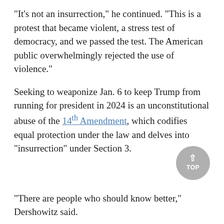"It's not an insurrection," he continued. "This is a protest that became violent, a stress test of democracy, and we passed the test. The American public overwhelmingly rejected the use of violence."
Seeking to weaponize Jan. 6 to keep Trump from running for president in 2024 is an unconstitutional abuse of the 14th Amendment, which codifies equal protection under the law and delves into "insurrection" under Section 3.
"There are people who should know better," Dershowitz said.